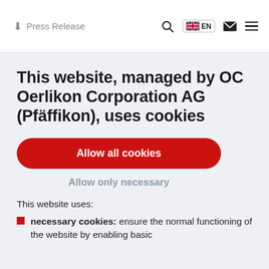↓ Press Release
This website, managed by OC Oerlikon Corporation AG (Pfäffikon), uses cookies
Allow all cookies
Allow only necessary
This website uses:
necessary cookies: ensure the normal functioning of the website by enabling basic